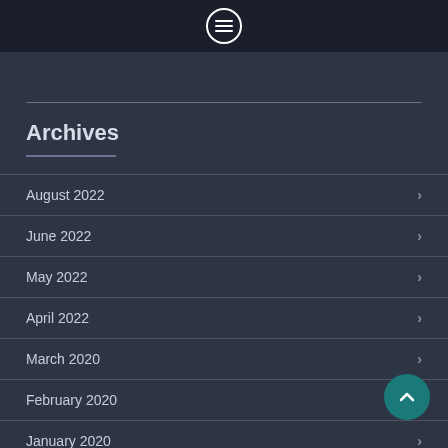Menu icon / navigation bar
Archives
August 2022
June 2022
May 2022
April 2022
March 2020
February 2020
January 2020
December 2019